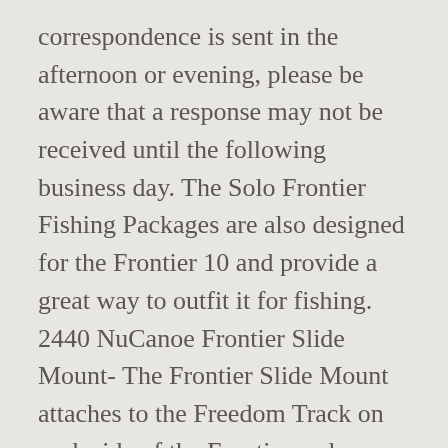correspondence is sent in the afternoon or evening, please be aware that a response may not be received until the following business day. The Solo Frontier Fishing Packages are also designed for the Frontier 10 and provide a great way to outfit it for fishing. 2440 NuCanoe Frontier Slide Mount- The Frontier Slide Mount attaches to the Freedom Track on each side of the Frontier and provides an area to mount rod holders, fish finders, GPS devices, and just about anything else. $150.00. Check out NuCanoe Classic 10 Reviews, online deals, new prices, used prices, videos and more. $225.00. It is compatible with MinnKota and MotorGuide Bow Mount Motors. Rentals.